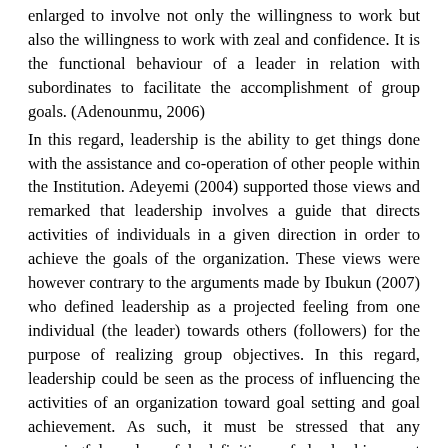enlarged to involve not only the willingness to work but also the willingness to work with zeal and confidence. It is the functional behaviour of a leader in relation with subordinates to facilitate the accomplishment of group goals. (Adenounmu, 2006)
In this regard, leadership is the ability to get things done with the assistance and co-operation of other people within the Institution. Adeyemi (2004) supported those views and remarked that leadership involves a guide that directs activities of individuals in a given direction in order to achieve the goals of the organization. These views were however contrary to the arguments made by Ibukun (2007) who defined leadership as a projected feeling from one individual (the leader) towards others (followers) for the purpose of realizing group objectives. In this regard, leadership could be seen as the process of influencing the activities of an organization toward goal setting and goal achievement. As such, it must be stressed that any meaningful and useful definition of leadership must contain some elements such as a group to be led which must have a set of laid down objectives, there must